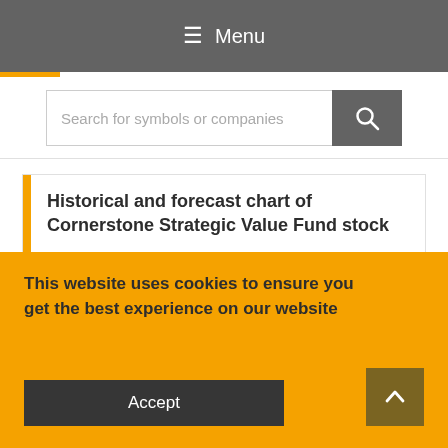≡ Menu
Search for symbols or companies
Historical and forecast chart of Cornerstone Strategic Value Fund stock
The chart below shows the historical price of Cornerstone Strategic Value Fund stock and a prediction chart for the next year. For convenience, prices are divided by color. Forecast prices include: Optimistic Forecast, Pessimistic Forecast, and Weighted Average Best Forecast. Detailed values for the Cornerstone Strategic Value
This website uses cookies to ensure you get the best experience on our website
Accept